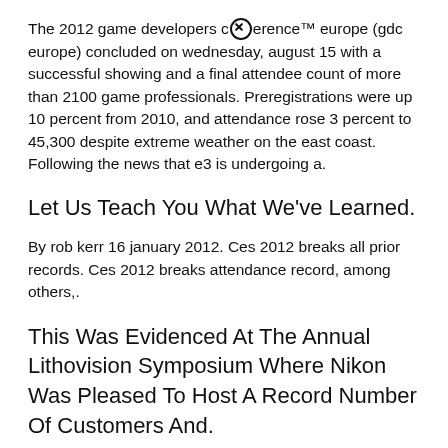The 2012 game developers c⊗erence™ europe (gdc europe) concluded on wednesday, august 15 with a successful showing and a final attendee count of more than 2100 game professionals. Preregistrations were up 10 percent from 2010, and attendance rose 3 percent to 45,300 despite extreme weather on the east coast. Following the news that e3 is undergoing a.
Let Us Teach You What We've Learned.
By rob kerr 16 january 2012. Ces 2012 breaks all prior records. Ces 2012 breaks attendance record, among others,.
This Was Evidenced At The Annual Lithovision Symposium Where Nikon Was Pleased To Host A Record Number Of Customers And.
Buvo rengiama dukart per metus: A record number of 223,753 persons attended the⊗okyo game show this year